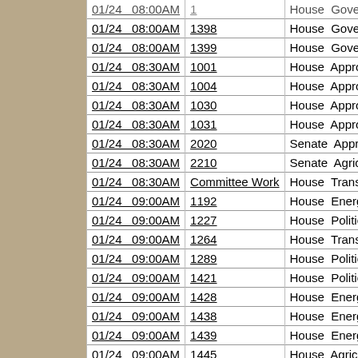| Date/Time | Bill | Chamber | Committee |
| --- | --- | --- | --- |
| 01/24  08:00AM | 1398 | House | Government and V... |
| 01/24  08:00AM | 1399 | House | Government and V... |
| 01/24  08:30AM | 1001 | House | Appropriations - Go... |
| 01/24  08:30AM | 1004 | House | Appropriations - Hu... |
| 01/24  08:30AM | 1030 | House | Appropriations - Ed... |
| 01/24  08:30AM | 1031 | House | Appropriations - Ed... |
| 01/24  08:30AM | 2020 | Senate | Appropriations |
| 01/24  08:30AM | 2210 | Senate | Agriculture |
| 01/24  08:30AM | Committee Work | House | Transportation |
| 01/24  09:00AM | 1192 | House | Energy and Natura... |
| 01/24  09:00AM | 1227 | House | Political Subdivisio... |
| 01/24  09:00AM | 1264 | House | Transportation |
| 01/24  09:00AM | 1289 | House | Political Subdivisio... |
| 01/24  09:00AM | 1421 | House | Political Subdivisio... |
| 01/24  09:00AM | 1428 | House | Energy and Natura... |
| 01/24  09:00AM | 1438 | House | Energy and Natura... |
| 01/24  09:00AM | 1439 | House | Energy and Natura... |
| 01/24  09:00AM | 1445 | House | Agriculture |
| 01/24  09:00AM | 1471 | House | Political Subdivisio... |